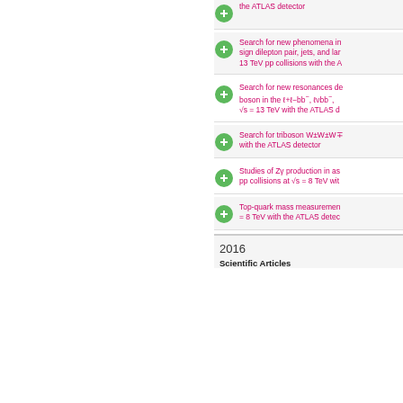the ATLAS detector
Search for new phenomena in events with a same-sign dilepton pair, jets, and large missing transverse momentum at 13 TeV pp collisions with the ATLAS detector
Search for new resonances decaying to a W or Z boson in the ℓ+ℓ−bb̄, ℓνbb̄, and νν̄bb̄ final states at √s = 13 TeV with the ATLAS detector
Search for triboson W±W±W∓ production with the ATLAS detector
Studies of Zγ production in association with a bb̄ system in pp collisions at √s = 8 TeV with the ATLAS detector
Top-quark mass measurement at √s = 8 TeV with the ATLAS detector
2016
Scientific Articles